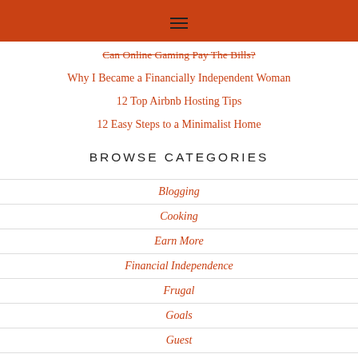≡
Can Online Gaming Pay The Bills?
Why I Became a Financially Independent Woman
12 Top Airbnb Hosting Tips
12 Easy Steps to a Minimalist Home
BROWSE CATEGORIES
Blogging
Cooking
Earn More
Financial Independence
Frugal
Goals
Guest
investing
Minimalism